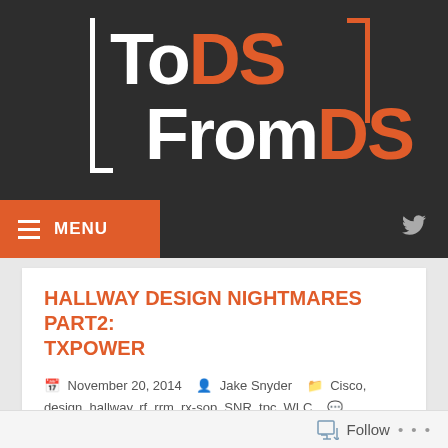[Figure (logo): ToDS FromDS blog logo on dark background with orange and white text and bracket design]
HALLWAY DESIGN NIGHTMARES PART2: TXPOWER
November 20, 2014   Jake Snyder   Cisco, design, hallway, rf, rrm, rx-sop, SNR, tpc, WLC   Leave a comment